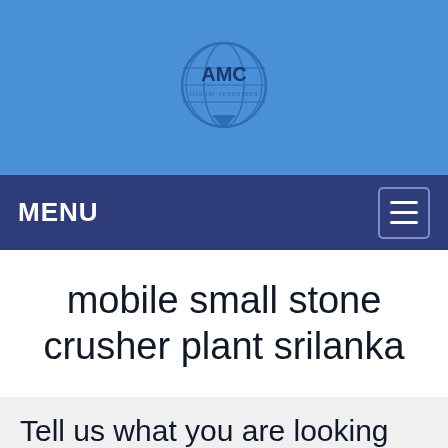[Figure (logo): AMC Global company logo with globe icon, blue circular design with text AMC and subtitle]
MENU
mobile small stone crusher plant srilanka
Tell us what you are looking for?
Please fill in and submit the following form, our service team will contact you as soon as possible and provide a complete solution.